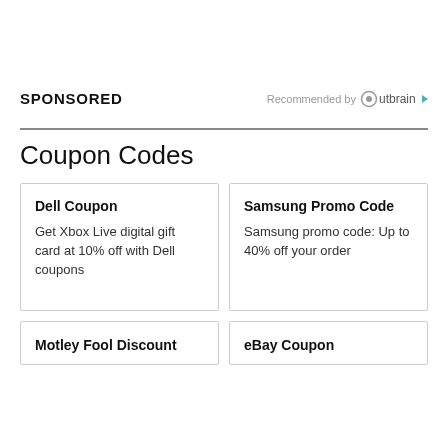SPONSORED
Recommended by Outbrain
Coupon Codes
Dell Coupon
Get Xbox Live digital gift card at 10% off with Dell coupons
Samsung Promo Code
Samsung promo code: Up to 40% off your order
Motley Fool Discount
eBay Coupon